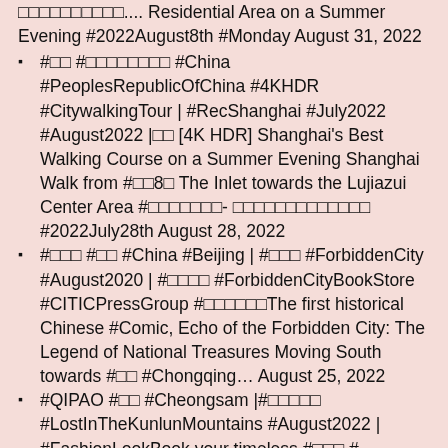□□□□□□□□□□.... Residential Area on a Summer Evening #2022August8th #Monday August 31, 2022
#□□ #□□□□□□□□ #China #PeoplesRepublicOfChina #4KHDR #CitywalkingTour | #RecShanghai #July2022 #August2022 |□□ [4K HDR] Shanghai's Best Walking Course on a Summer Evening Shanghai Walk from #□□8□ The Inlet towards the Lujiazui Center Area #□□□□□□□- □□□□□□□□□□□□□ #2022July28th August 28, 2022
#□□□ #□□ #China #Beijing | #□□□ #ForbiddenCity #August2020 | #□□□□ #ForbiddenCityBookStore #CITICPressGroup #□□□□□□The first historical Chinese #Comic, Echo of the Forbidden City: The Legend of National Treasures Moving South towards #□□ #Chongqing… August 25, 2022
#QIPAO #□□ #Cheongsam |#□□□□□ #LostInTheKunlunMountains #August2022 | #FashionLookBook your timeless #□□□ # ZhongChuxi